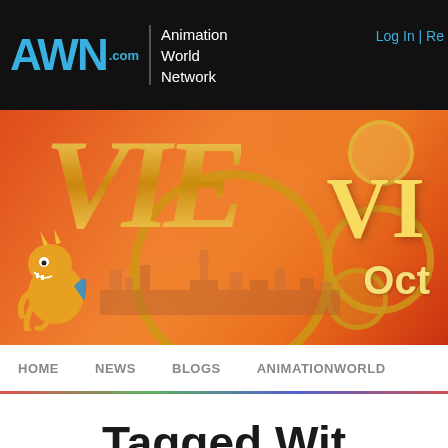AWN.com Animation World Network | Log In | Re...
[Figure (illustration): VIE animation festival banner with golden stylized letters VIE, cartoon dragon character on left, city skyline in background circles, orange/red gradient background, text 'VI' large on right and 'Oct' below]
HOME  NEWS  BLOGS  ANIMATIONWORLD
Tagged Wit...